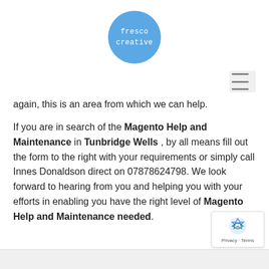[Figure (logo): Fresco Creative logo — blue circle with white monospace text 'fresco creative']
again, this is an area from which we can help.
If you are in search of the Magento Help and Maintenance in Tunbridge Wells , by all means fill out the form to the right with your requirements or simply call Innes Donaldson direct on 07878624798. We look forward to hearing from you and helping you with your efforts in enabling you have the right level of Magento Help and Maintenance needed.
[Figure (other): reCAPTCHA badge with Privacy and Terms links]